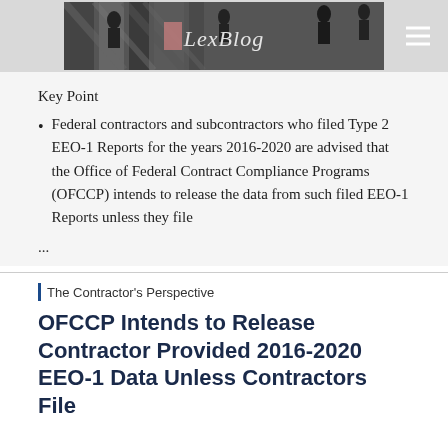[Figure (photo): LexBlog header banner with people crossing a street in black and white, with LexBlog logo text overlay]
Key Point
Federal contractors and subcontractors who filed Type 2 EEO-1 Reports for the years 2016-2020 are advised that the Office of Federal Contract Compliance Programs (OFCCP) intends to release the data from such filed EEO-1 Reports unless they file
...
The Contractor's Perspective
OFCCP Intends to Release Contractor Provided 2016-2020 EEO-1 Data Unless Contractors File